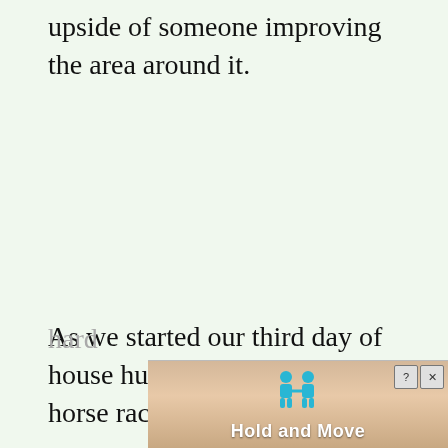upside of someone improving the area around it.
As we started our third day of house hunting it was a two horse race and it was hard
[Figure (screenshot): Advertisement overlay showing 'Hold and Move' text with blue cartoon figures and a close button (X) and help button (?), displayed over a wooden texture background.]